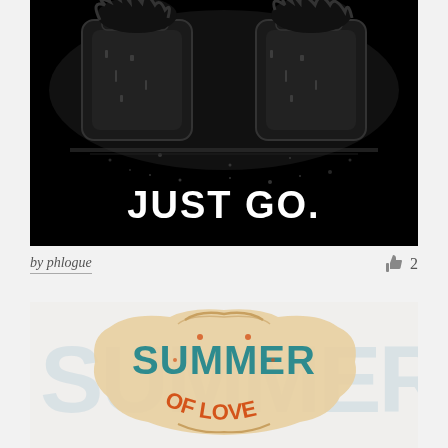[Figure (illustration): Black background illustration showing two car seats from behind with a person sitting in each, furry/hairy texture around edges, white text at bottom reading JUST GO.]
by phlogue
[Figure (illustration): Colorful vintage-style typographic illustration with large faded letters in background and decorative lettering in teal, orange, and tan reading SUMMER OF LOVE with ornate flourishes and decorative border elements.]
👍 2